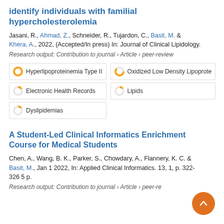identify individuals with familial hypercholesterolemia
Jasani, R., Ahmad, Z., Schneider, R., Tujardon, C., Basit, M. & Khera, A., 2022, (Accepted/In press) In: Journal of Clinical Lipidology.
Research output: Contribution to journal › Article › peer-review
Hyperlipoproteinemia Type II
Oxidized Low Density Lipoprote...
Electronic Health Records
Lipids
Dyslipidemias
A Student-Led Clinical Informatics Enrichment Course for Medical Students
Chen, A., Wang, B. K., Parker, S., Chowdary, A., Flannery, K. C. & Basit, M., Jan 1 2022, In: Applied Clinical Informatics. 13, 1, p. 322-326 5 p.
Research output: Contribution to journal › Article › peer-re...